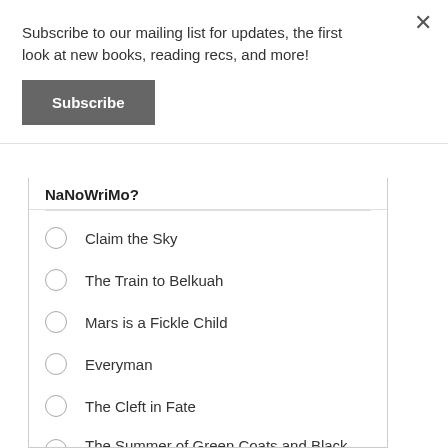Subscribe to our mailing list for updates, the first look at new books, reading recs, and more!
Subscribe
NaNoWriMo?
Claim the Sky
The Train to Belkuah
Mars is a Fickle Child
Everyman
The Cleft in Fate
The Summer of Green Coats and Black Lies